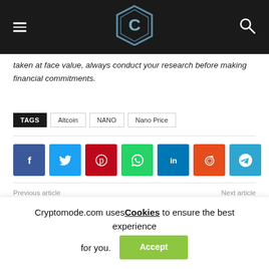Cryptomode site header with hamburger menu, logo, and search icon
taken at face value, always conduct your research before making financial commitments.
TAGS  Altcoin  NANO  Nano Price
[Figure (infographic): Social share buttons: Facebook, Twitter, Pinterest, WhatsApp, LinkedIn, Reddit, Telegram]
Previous article   Next article
Cryptomode.com uses Cookies to ensure the best experience for you.  Accept